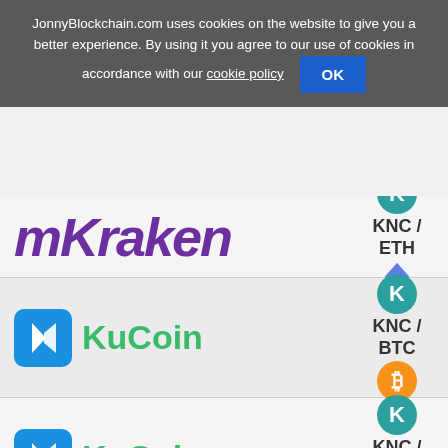JonnyBlockchain.com uses cookies on the website to give you a better experience. By using it you agree to our use of cookies in accordance with our cookie policy  OK
[Figure (logo): mKraken exchange logo in purple italic bold text, partial row visible, with KNC/ETH pair label and Ethereum diamond icon on right]
[Figure (logo): KuCoin exchange logo (blue K diamond icon + green KuCoin text) with KNC/BTC pair label and orange Bitcoin icon on right]
[Figure (logo): KuCoin exchange logo (blue K diamond icon + green KuCoin text) with KNC/ETH pair label and Ethereum diamond icon on right]
[Figure (logo): KuCoin exchange logo (blue K diamond icon + green KuCoin text) with KNC/USDT pair label and Tether icon on right (partially visible)]